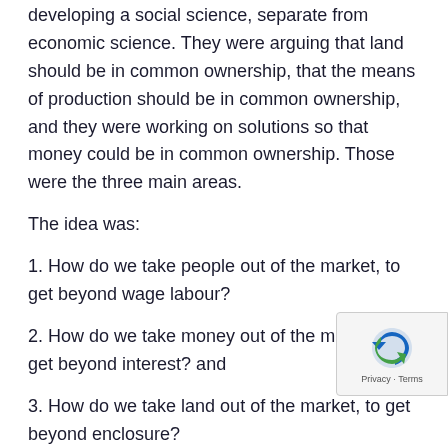developing a social science, separate from economic science. They were arguing that land should be in common ownership, that the means of production should be in common ownership, and they were working on solutions so that money could be in common ownership. Those were the three main areas.
The idea was:
1. How do we take people out of the market, to get beyond wage labour?
2. How do we take money out of the market, to get beyond interest? and
3. How do we take land out of the market, to get beyond enclosure?
These things mean that ordinary people had nothing to sell but their wage labour.